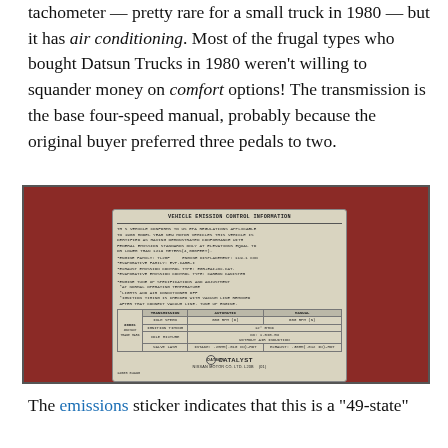tachometer — pretty rare for a small truck in 1980 — but it has air conditioning. Most of the frugal types who bought Datsun Trucks in 1980 weren't willing to squander money on comfort options! The transmission is the base four-speed manual, probably because the original buyer preferred three pedals to two.
[Figure (photo): A photo of a red Datsun truck's engine bay showing a Vehicle Emission Control Information sticker. The sticker is labeled CATALYST and NISSAN MOTOR CO. LTD. L20B, with engine family TL20F, engine displacement 119.1 CID, and various emission control specifications.]
The emissions sticker indicates that this is a "49-state"